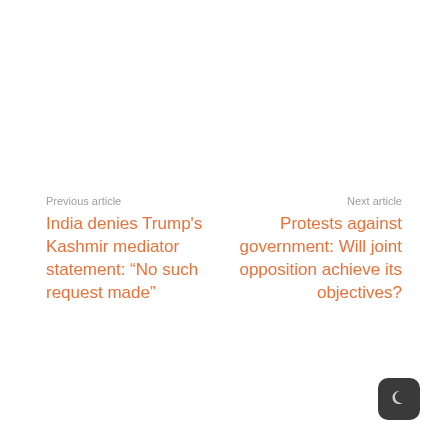Previous article
India denies Trump's Kashmir mediator statement: “No such request made”
Next article
Protests against government: Will joint opposition achieve its objectives?
[Figure (illustration): Dark mode toggle button icon — a crescent moon symbol on a dark rounded square background]